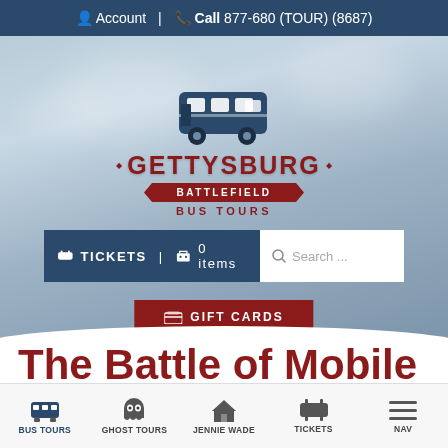Account | Call 877-680 (TOUR) (8687)
[Figure (logo): Gettysburg Battlefield Bus Tours logo with bus icon and ribbon banner]
TICKETS | 0 items  Search ...
GIFT CARDS
The Battle of Mobile Bay
BUS TOURS | GHOST TOURS | JENNIE WADE | TICKETS | NAV